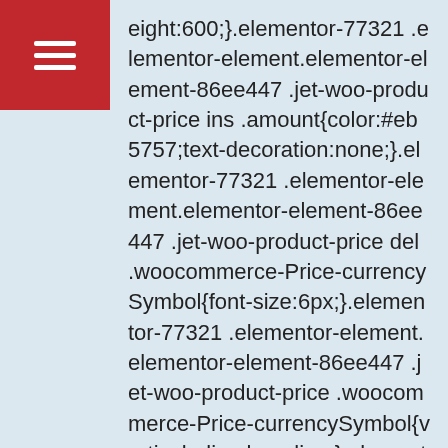eight:600;}.elementor-77321 .elementor-element.elementor-element-86ee447 .jet-woo-product-price ins .amount{color:#eb5757;text-decoration:none;}.elementor-77321 .elementor-element.elementor-element-86ee447 .jet-woo-product-price del .woocommerce-Price-currencySymbol{font-size:6px;}.elementor-77321 .elementor-element.elementor-element-86ee447 .jet-woo-product-price .woocommerce-Price-currencySymbol{vertical-align:baseline;}.elementor-77321 .elementor-element.elementor-element-86ee447 > .elementor-widget-container{padding:0px 15px 0px 15px;}.elementor-77321 .elementor-element.elementor-element-049e69d .jet-woo-builder-archive-add-to-cart .button{display:inline-block;font-family:"Lustra",Sans-serif;font-